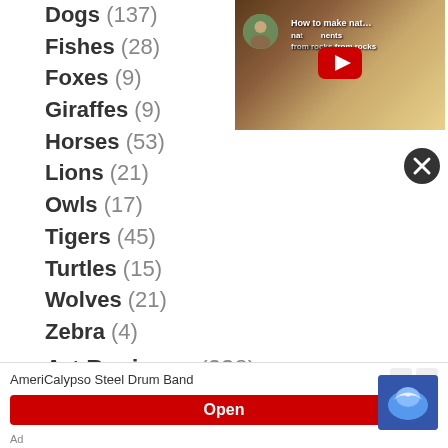Dogs (137)
Fishes (28)
Foxes (9)
Giraffes (9)
Horses (53)
Lions (21)
Owls (17)
Tigers (45)
Turtles (15)
Wolves (21)
Zebra (4)
Art Business (238)
[Figure (screenshot): YouTube video thumbnail showing 'How to make nat...' with natural pigments from rocks, with a play button overlay]
[Figure (screenshot): Close button (X) in dark circle]
[Figure (screenshot): Advertisement banner: AmeriCalypso Steel Drum Band with Open button]